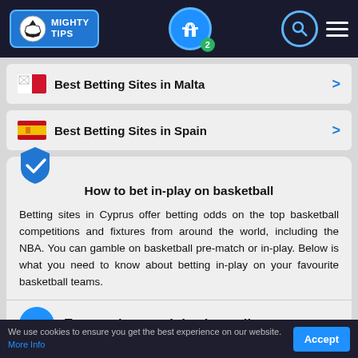[Figure (logo): Mighty Tips logo with soccer ball icon on blue background with border]
Best Betting Sites in Malta
Best Betting Sites in Spain
How to bet in-play on basketball
Betting sites in Cyprus offer betting odds on the top basketball competitions and fixtures from around the world, including the NBA. You can gamble on basketball pre-match or in-play. Below is what you need to know about betting in-play on your favourite basketball teams.
Ensure the match is shown li... TV or live stream
We use cookies to ensure you get the best experience on our website. More Info